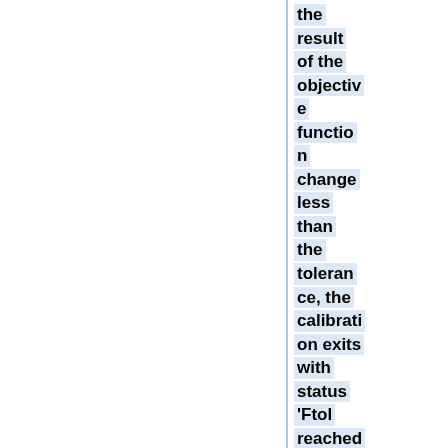the result of the objective function change less than the tolerance, the calibration exits with status 'Ftol reached'. When using